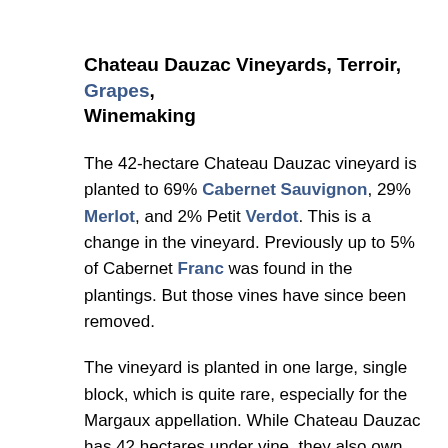Chateau Dauzac Vineyards, Terroir, Grapes, Winemaking
The 42-hectare Chateau Dauzac vineyard is planted to 69% Cabernet Sauvignon, 29% Merlot, and 2% Petit Verdot. This is a change in the vineyard. Previously up to 5% of Cabernet Franc was found in the plantings. But those vines have since been removed.
The vineyard is planted in one large, single block, which is quite rare, especially for the Margaux appellation. While Chateau Dauzac has 42 hectares under vine, they also own an additional 120 hectares of farmland, greenery, and forest land at their estate. The estate also owns 4 hectares of vines in